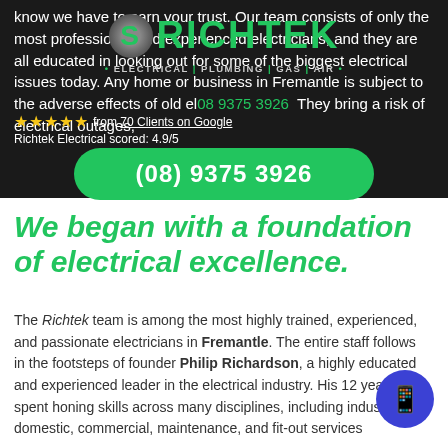know we have to earn your trust. Our team consists of only the most professional and experienced electricians, and they are all educated in looking out for some of the biggest electrical issues today. Any home or business in Fremantle is subject to the adverse effects of old electrical wiring. They bring a risk of electrical outages,
[Figure (logo): Richtek Electrical Plumbing Gas Air logo with green S icon and company name in green on dark background]
★★★★★ from 70 Clients on Google
Richtek Electrical scored: 4.9/5
08 9375 3926
[Figure (other): Green CTA button with phone number (08) 9375 3926]
We began with a foundation of electrical excellence.
The Richtek team is among the most highly trained, experienced, and passionate electricians in Fremantle. The entire staff follows in the footsteps of founder Philip Richardson, a highly educated and experienced leader in the electrical industry. His 12 years spent honing skills across many disciplines, including industrial, domestic, commercial, maintenance, and fit-out services